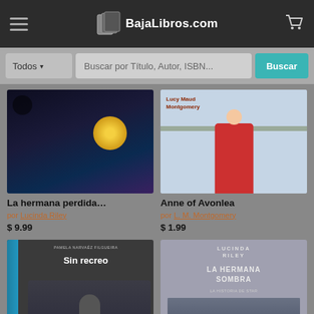BajaLibros.com
Todos | Buscar por Título, Autor, ISBN... | Buscar
[Figure (screenshot): Book cover for 'La hermana perdida...' - dark space-themed cover with golden circle]
La hermana perdida...
por Lucinda Riley
$ 9.99
[Figure (screenshot): Book cover for 'Anne of Avonlea' - light blue background with figure in red coat and shelves, text 'Lucy Maud Montgomery']
Anne of Avonlea
por L. M. Montgomery
$ 1.99
[Figure (screenshot): Book cover for 'Sin recreo' - blue spine, dark background with woman sitting]
[Figure (screenshot): Book cover for 'La hermana sombra' by Lucinda Riley - grey toned cover with woman]